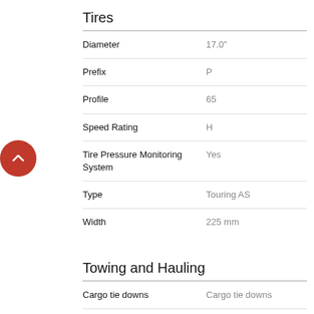Tires
|  |  |
| --- | --- |
| Diameter | 17.0" |
| Prefix | P |
| Profile | 65 |
| Speed Rating | H |
| Tire Pressure Monitoring System | Yes |
| Type | Touring AS |
| Width | 225 mm |
Towing and Hauling
|  |  |
| --- | --- |
| Cargo tie downs | Cargo tie downs |
| Trailer Sway Control | Trailer sway control |
Transmission
|  |  |
| --- | --- |
| Automatic type | Multi-speed automatic |
| Manual / automatic | Automatic |
| Number of speeds | 6 |